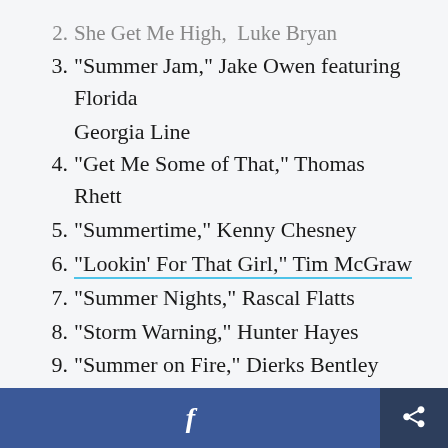2.  She Get Me High,  Luke Bryan
3. "Summer Jam," Jake Owen featuring Florida Georgia Line
4. "Get Me Some of That," Thomas Rhett
5. "Summertime," Kenny Chesney
6. "Lookin' For That Girl," Tim McGraw
7. "Summer Nights," Rascal Flatts
8. "Storm Warning," Hunter Hayes
9. "Summer on Fire," Dierks Bentley
10. "Yeah," Joe Nichols
11. "19 You + Me" Dan + Shay